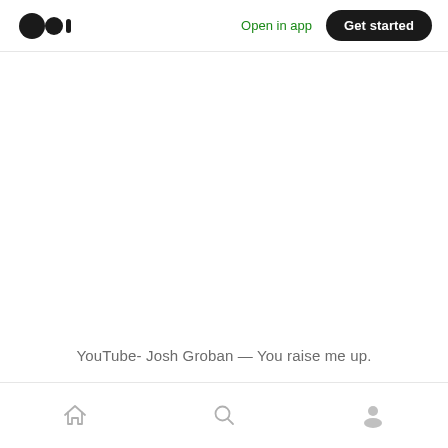Open in app  Get started
YouTube- Josh Groban — You raise me up.
Home  Search  Profile